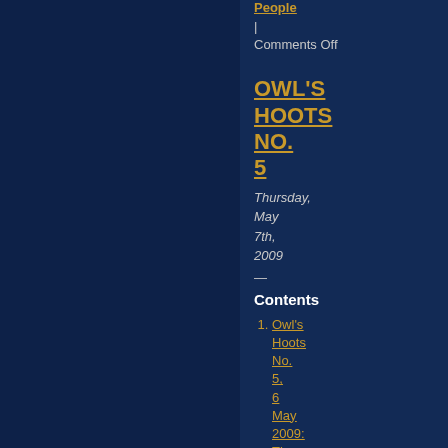People
| Comments Off
OWL'S HOOTS NO. 5
Thursday, May 7th, 2009
—
Contents
Owl's Hoots No. 5, 6 May 2009: The ...